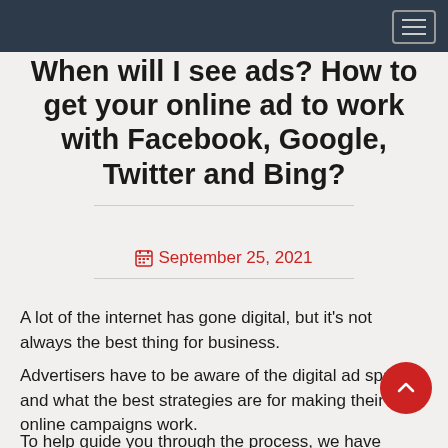Navigation bar with hamburger menu
When will I see ads? How to get your online ad to work with Facebook, Google, Twitter and Bing?
September 25, 2021
A lot of the internet has gone digital, but it's not always the best thing for business.
Advertisers have to be aware of the digital ad space and what the best strategies are for making their online campaigns work.
To help guide you through the process, we have compiled a list of things you should know to make